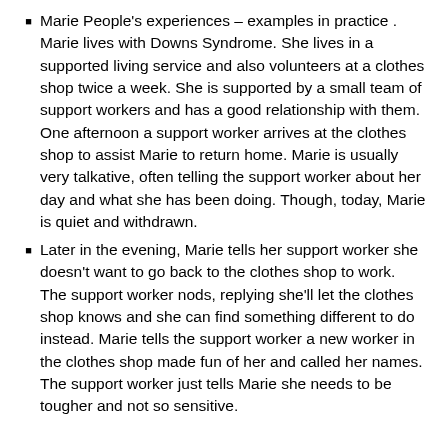Marie People's experiences – examples in practice . Marie lives with Downs Syndrome. She lives in a supported living service and also volunteers at a clothes shop twice a week. She is supported by a small team of support workers and has a good relationship with them. One afternoon a support worker arrives at the clothes shop to assist Marie to return home. Marie is usually very talkative, often telling the support worker about her day and what she has been doing. Though, today, Marie is quiet and withdrawn.
Later in the evening, Marie tells her support worker she doesn't want to go back to the clothes shop to work. The support worker nods, replying she'll let the clothes shop knows and she can find something different to do instead. Marie tells the support worker a new worker in the clothes shop made fun of her and called her names. The support worker just tells Marie she needs to be tougher and not so sensitive.